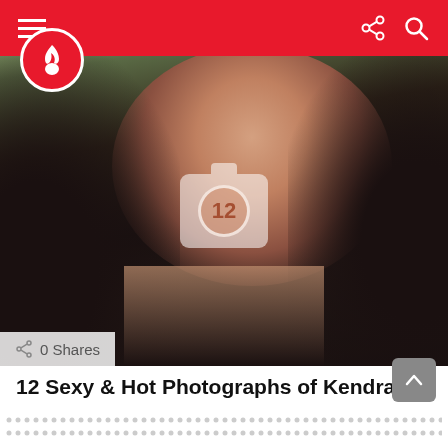Navigation bar with hamburger menu, share icon, search icon
[Figure (photo): Close-up photo of a dark-haired woman in a car, with a gallery/camera icon overlay showing '12' in the center and '0 Shares' badge in bottom-left corner]
12 Sexy & Hot Photographs of Kendra Lust
by Harry Rosen • 2 years ago